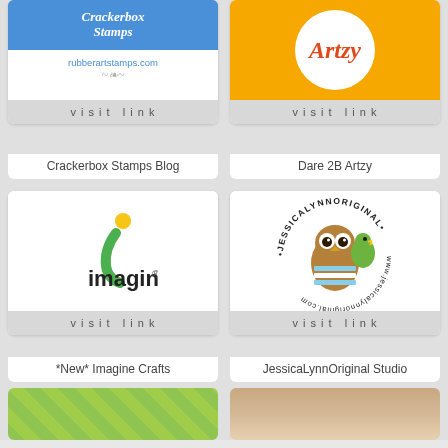[Figure (logo): Crackerbox Stamps logo with blue background, cursive white text and URL rubberartstamps.com]
Crackerbox Stamps Blog
[Figure (logo): Artzy logo on orange background with white circle]
Dare 2B Artzy
[Figure (logo): Imagine Crafts logo with colorful i letter and imagine text]
*New* Imagine Crafts
[Figure (logo): JessicaLynnOriginal Studio circular logo with owl and parrot illustration]
JessicaLynnOriginal Studio
[Figure (photo): Partial view of green textured pattern]
[Figure (photo): Partial view of person with blonde hair]